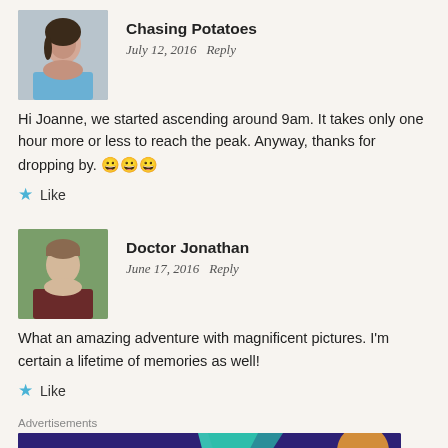[Figure (photo): Profile photo of Chasing Potatoes commenter - young woman]
Chasing Potatoes
July 12, 2016   Reply
Hi Joanne, we started ascending around 9am. It takes only one hour more or less to reach the peak. Anyway, thanks for dropping by. 😀😀😀
★ Like
[Figure (photo): Profile photo of Doctor Jonathan commenter - young man]
Doctor Jonathan
June 17, 2016   Reply
What an amazing adventure with magnificent pictures. I'm certain a lifetime of memories as well!
★ Like
Advertisements
[Figure (screenshot): WooCommerce advertisement banner: Turn your hobby into a business in 8 steps]